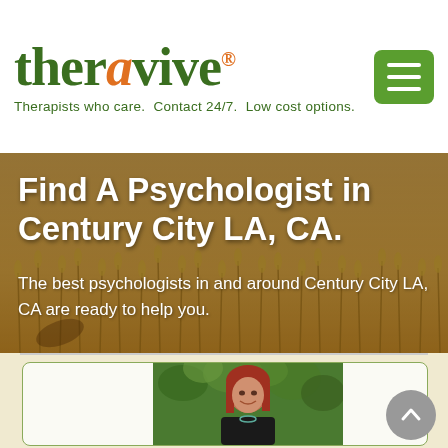theravive® — Therapists who care. Contact 24/7. Low cost options.
Find A Psychologist in Century City LA, CA.
The best psychologists in and around Century City LA, CA are ready to help you.
[Figure (photo): Portrait photo of a female therapist with red/auburn hair, wearing a black top, smiling, standing in front of green ivy foliage outdoors.]